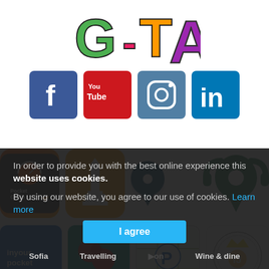[Figure (logo): Colorful GTA-style logo letters partially visible at top]
[Figure (infographic): Row of social media icons: Facebook (blue), YouTube (red), Instagram (teal), LinkedIn (blue)]
[Figure (infographic): Row of app icons: PocketGuide (orange/dark), lighthouse app (orange), and two location pin apps (green/teal)]
[Figure (infographic): Row of app icons: inyourpocket (blue), red bubbles app (teal), parking map app, Bulgarian tourism app (gold/green)]
In order to provide you with the best online experience this website uses cookies.
By using our website, you agree to our use of cookies. Learn more
I agree
Sofia   Travelling   [hidden]on   Wine & dine